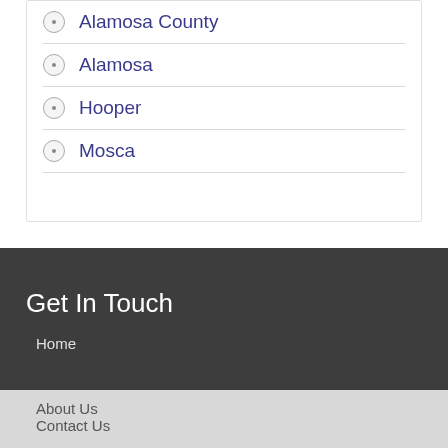Alamosa County
Alamosa
Hooper
Mosca
Get In Touch
Home
About Us
Contact Us